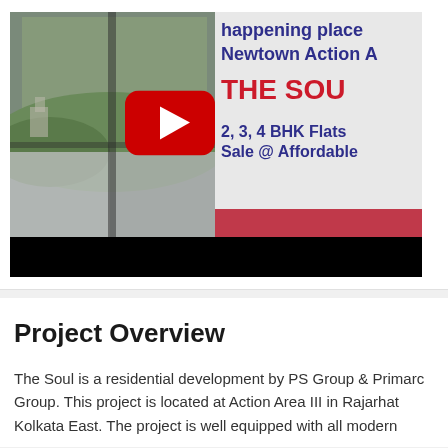[Figure (screenshot): A video thumbnail showing a split image: left side has an interior/exterior photo through a large window with a green hillside view; right side is a grey promotional banner with text 'happening place', 'Newtown Action A', 'THE SOU', '2, 3, 4 BHK Flats', 'Sale @ Affordable'. A YouTube play button icon overlays the center. There is a pink bar and a black bar at the bottom.]
Project Overview
The Soul is a residential development by PS Group & Primarc Group. This project is located at Action Area III in Rajarhat Kolkata East. The project is well equipped with all modern